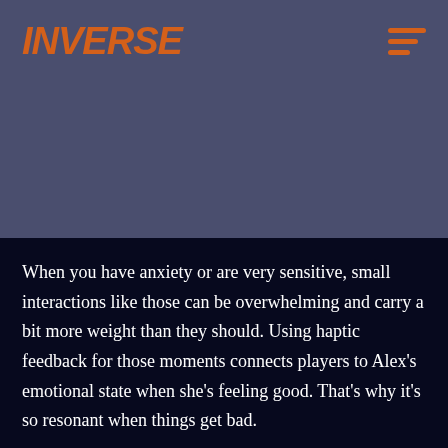INVERSE
[Figure (illustration): Dark blue-purple banner/header area with Inverse logo and hamburger menu icon]
When you have anxiety or are very sensitive, small interactions like those can be overwhelming and carry a bit more weight than they should. Using haptic feedback for those moments connects players to Alex’s emotional state when she’s feeling good. That’s why it’s so resonant when things get bad.